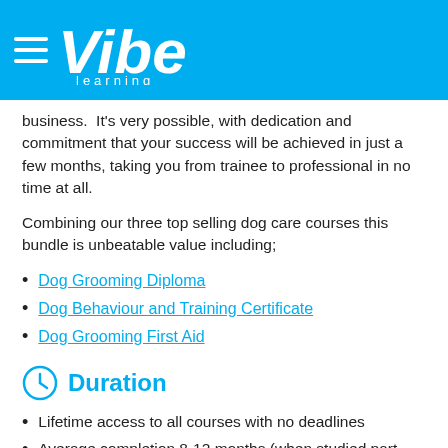Vibe learning
business.  It's very possible, with dedication and commitment that your success will be achieved in just a few months, taking you from trainee to professional in no time at all.
Combining our three top selling dog care courses this bundle is unbeatable value including;
Dog Grooming Diploma
Dog Behaviour and Training Certificate
Dog Grooming First Aid
Duration
Lifetime access to all courses with no deadlines
Average completion 8-12 months (when studied part time)